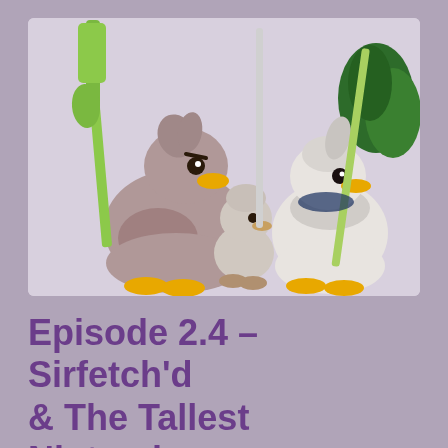[Figure (illustration): Illustration of three Pokémon characters: Farfetch'd (left, brownish duck holding a leek), a smaller sketch-style Pokémon (center), and Sirfetch'd (right, white duck-like Pokémon holding a large leek lance and broccoli shield). Background is light lavender.]
Episode 2.4 – Sirfetch'd & The Tallest Nintendo Boys